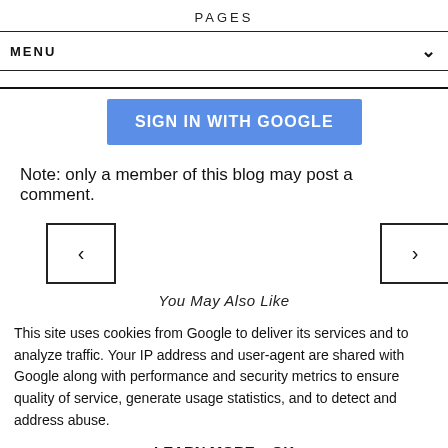PAGES
MENU
Sign in with Google
Note: only a member of this blog may post a comment.
[Figure (other): Navigation arrows left and right in bordered boxes]
You May Also Like
This site uses cookies from Google to deliver its services and to analyze traffic. Your IP address and user-agent are shared with Google along with performance and security metrics to ensure quality of service, generate usage statistics, and to detect and address abuse.
LEARN MORE    OK